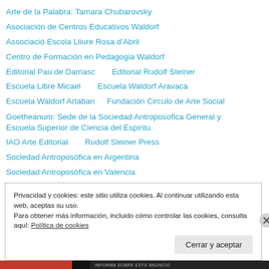Arte de la Palabra: Tamara Chubarovsky
Asociación de Centros Educativos Waldorf
Associació Escola Lliure Rosa d'Abril
Centro de Formación en Pedagogia Waldorf
Editorial Pau de Damasc    Editorial Rudolf Steiner
Escuela Libre Micael    Escuela Waldorf Aravaca
Escuela Waldorf Artaban    Fundación Circulo de Arte Social
Goetheanum: Sede de la Sociedad Antroposofica General y Escuela Superior de Ciencia del Espiritu
IAO Arte Editorial    Rudolf Steiner Press
Sociedad Antroposófica en Argentina
Sociedad Antroposófica en Valencia
Privacidad y cookies: este sitio utiliza cookies. Al continuar utilizando esta web, aceptas su uso.
Para obtener más información, incluido cómo controlar las cookies, consulta aquí: Política de cookies
Cerrar y aceptar